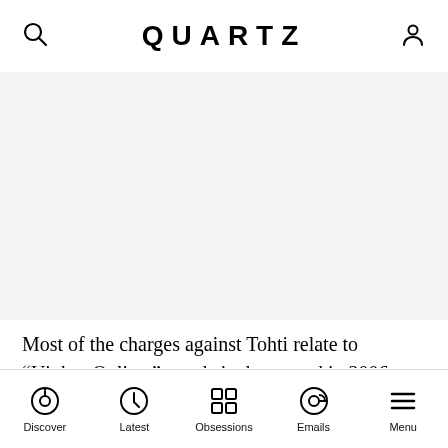QUARTZ
Most of the charges against Tohti relate to “Uighur Online,” a website he started in 2006 to promote better understanding between Han Chinese and Uighurs. It featured articles in the two languages about customs and values—which the Chinese authorities decided were a means for Tohti to have “bewitched and coerced young
Discover  Latest  Obsessions  Emails  Menu